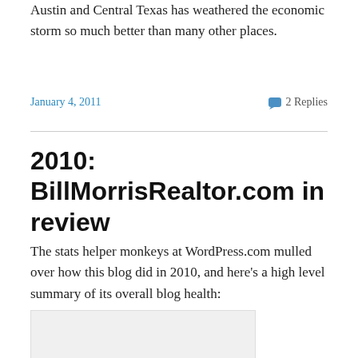Austin and Central Texas has weathered the economic storm so much better than many other places.
January 4, 2011   💬 2 Replies
2010: BillMorrisRealtor.com in review
The stats helper monkeys at WordPress.com mulled over how this blog did in 2010, and here's a high level summary of its overall blog health:
[Figure (other): A donut/gauge style chart showing blog health, partially visible, with yellow-green and dark green segments on a light gray background.]